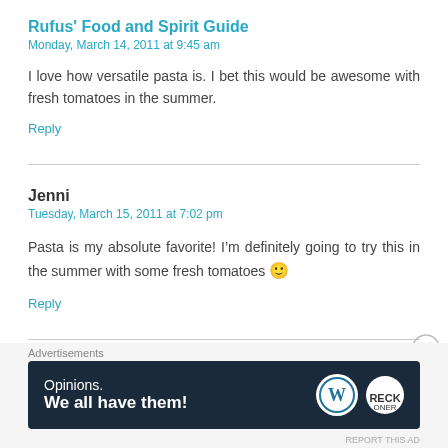Rufus' Food and Spirit Guide
Monday, March 14, 2011 at 9:45 am
I love how versatile pasta is. I bet this would be awesome with fresh tomatoes in the summer.
Reply
Jenni
Tuesday, March 15, 2011 at 7:02 pm
Pasta is my absolute favorite! I’m definitely going to try this in the summer with some fresh tomatoes 🙂
Reply
veggiegrottie
Advertisements
[Figure (screenshot): WordPress advertisement banner with text 'Opinions. We all have them!' and WordPress and Reckoner logos on dark navy background]